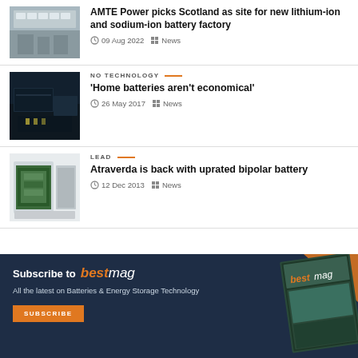[Figure (photo): Aerial view of a building with solar panels]
AMTE Power picks Scotland as site for new lithium-ion and sodium-ion battery factory
09 Aug 2022   News
[Figure (photo): Night view of a modern building]
NO TECHNOLOGY
‘Home batteries aren’t economical’
26 May 2017   News
[Figure (photo): 3D illustration of layered battery components]
LEAD
Atraverda is back with uprated bipolar battery
12 Dec 2013   News
[Figure (infographic): Subscribe to bestmag banner with subscribe button]
Subscribe to bestmag
All the latest on Batteries & Energy Storage Technology
SUBSCRIBE